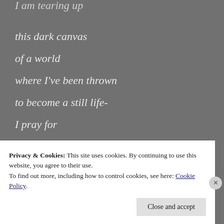I am tearing up
this dark canvas
of a world
where I've been thrown
to become a still life-
I pray for
a turquoise sky
Privacy & Cookies: This site uses cookies. By continuing to use this website, you agree to their use.
To find out more, including how to control cookies, see here: Cookie Policy
Close and accept